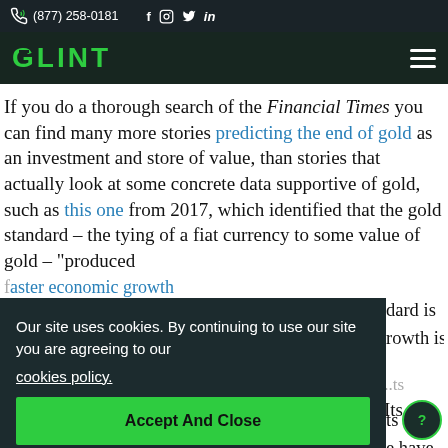(877) 258-0181  f  [instagram]  [twitter]  in
GLINT [hamburger menu]
If you do a thorough search of the Financial Times you can find many more stories predicting the end of gold as an investment and store of value, than stories that actually look at some concrete data supportive of gold, such as this one from 2017, which identified that the gold standard – the tying of a fiat currency to some value of gold – "produced ...dard is ...rowth is ...ts in ...e have ...ke u...ts mind whether gold is a good thing or a bad thing. Its views
Our site uses cookies. By continuing to use our site you are agreeing to our cookies policy.
Accept And Close